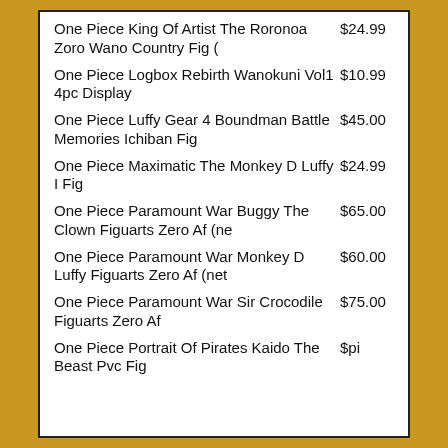One Piece King Of Artist The Roronoa Zoro Wano Country Fig (
One Piece Logbox Rebirth Wanokuni Vol1 4pc Display
One Piece Luffy Gear 4 Boundman Battle Memories Ichiban Fig
One Piece Maximatic The Monkey D Luffy I Fig
One Piece Paramount War Buggy The Clown Figuarts Zero Af (ne
One Piece Paramount War Monkey D Luffy Figuarts Zero Af (net
One Piece Paramount War Sir Crocodile Figuarts Zero Af
One Piece Portrait Of Pirates Kaido The Beast Pvc Fig